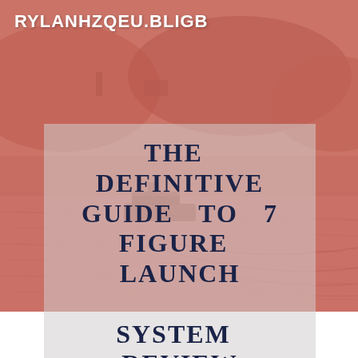RYLANHZQEU.BLIGB
[Figure (photo): Background photo of a river scene with a boat and hills/mountains in the background, overlaid with a red/salmon color tint covering the upper portion of the page.]
THE DEFINITIVE GUIDE TO 7 FIGURE LAUNCH SYSTEM REVIEW